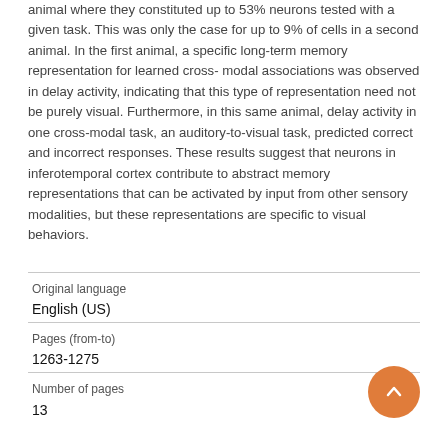animal where they constituted up to 53% neurons tested with a given task. This was only the case for up to 9% of cells in a second animal. In the first animal, a specific long-term memory representation for learned cross- modal associations was observed in delay activity, indicating that this type of representation need not be purely visual. Furthermore, in this same animal, delay activity in one cross-modal task, an auditory-to-visual task, predicted correct and incorrect responses. These results suggest that neurons in inferotemporal cortex contribute to abstract memory representations that can be activated by input from other sensory modalities, but these representations are specific to visual behaviors.
| Original language | English (US) |
| Pages (from-to) | 1263-1275 |
| Number of pages | 13 |